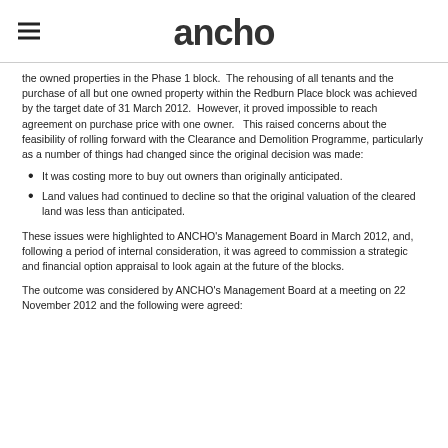ancho
the owned properties in the Phase 1 block.  The rehousing of all tenants and the purchase of all but one owned property within the Redburn Place block was achieved by the target date of 31 March 2012.  However, it proved impossible to reach agreement on purchase price with one owner.   This raised concerns about the feasibility of rolling forward with the Clearance and Demolition Programme, particularly as a number of things had changed since the original decision was made:
It was costing more to buy out owners than originally anticipated.
Land values had continued to decline so that the original valuation of the cleared land was less than anticipated.
These issues were highlighted to ANCHO's Management Board in March 2012, and, following a period of internal consideration, it was agreed to commission a strategic and financial option appraisal to look again at the future of the blocks.
The outcome was considered by ANCHO's Management Board at a meeting on 22 November 2012 and the following were agreed: